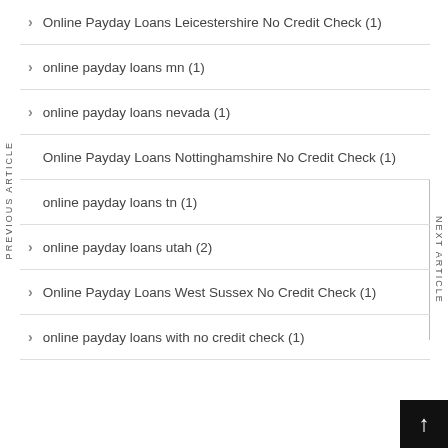Online Payday Loans Leicestershire No Credit Check (1)
online payday loans mn (1)
online payday loans nevada (1)
Online Payday Loans Nottinghamshire No Credit Check (1)
online payday loans tn (1)
online payday loans utah (2)
Online Payday Loans West Sussex No Credit Check (1)
online payday loans with no credit check (1)